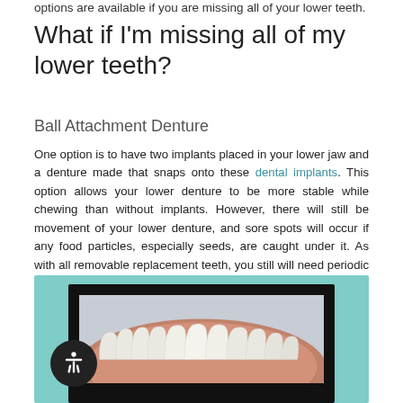options are available if you are missing all of your lower teeth.
What if I'm missing all of my lower teeth?
Ball Attachment Denture
One option is to have two implants placed in your lower jaw and a denture made that snaps onto these dental implants. This option allows your lower denture to be more stable while chewing than without implants. However, there will still be movement of your lower denture, and sore spots will occur if any food particles, especially seeds, are caught under it. As with all removable replacement teeth, you still will need periodic appointments for denture adjustment.
[Figure (illustration): Dental illustration showing a lower jaw with white prosthetic teeth/denture against a teal background with black border frame.]